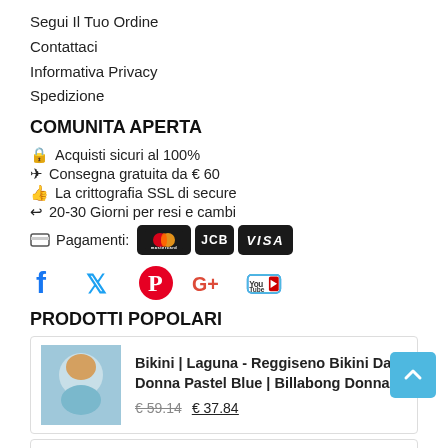Segui Il Tuo Ordine
Contattaci
Informativa Privacy
Spedizione
COMUNITA APERTA
🔒 Acquisti sicuri al 100%
✈ Consegna gratuita da € 60
👍 La crittografia SSL di secure
↩ 20-30 Giorni per resi e cambi
🖥 Pagamenti: MasterCard JCB VISA
[Figure (infographic): Social media icons: Facebook, Twitter, Pinterest, Google+, YouTube]
PRODOTTI POPOLARI
Bikini | Laguna - Reggiseno Bikini Da Donna Pastel Blue | Billabong Donna € 59.14 € 37.84
Product card 2 partially visible